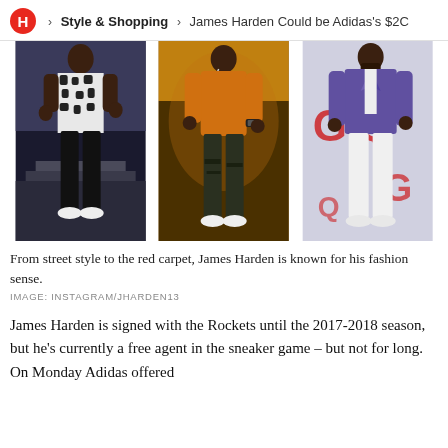H > Style & Shopping > James Harden Could be Adidas's $20
[Figure (photo): Three photos of James Harden: left shows him in a black and white patterned short-sleeve shirt with black pants and white shoes; center shows him in an orange sweater with dark ripped jeans and white shoes; right shows him at a GQ event in a purple blazer with white pants.]
From street style to the red carpet, James Harden is known for his fashion sense.
IMAGE: INSTAGRAM/JHARDEN13
James Harden is signed with the Rockets until the 2017-2018 season, but he's currently a free agent in the sneaker game – but not for long. On Monday Adidas offered